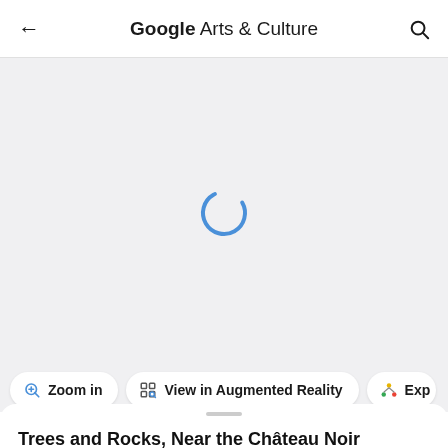Google Arts & Culture
[Figure (screenshot): Loading spinner (blue arc) on light gray background — image not yet loaded]
Zoom in   View in Augmented Reality   Exp
Trees and Rocks, Near the Château Noir
Paul Cézanne   ca. 1900 – 1906
[Figure (logo): Dixon Gallery & Gardens logo]
Dixon Gallery and Gardens